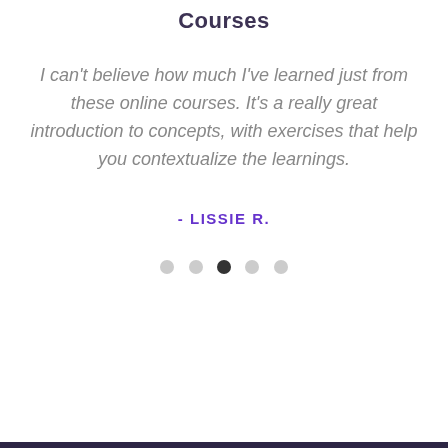Courses
I can't believe how much I've learned just from these online courses. It's a really great introduction to concepts, with exercises that help you contextualize the learnings.
- LISSIE R.
[Figure (other): Carousel navigation dots, 5 dots with the third (middle) one filled dark/active and the others light gray]